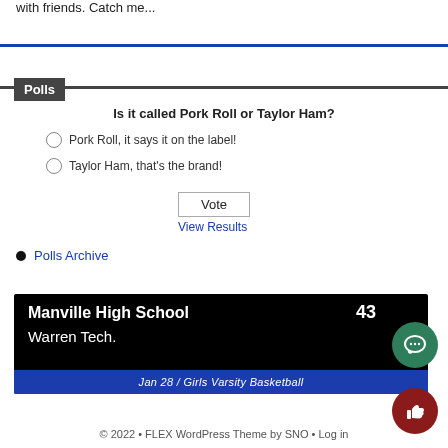with friends. Catch me...
Polls
Is it called Pork Roll or Taylor Ham?
Pork Roll, it says it on the label!
Taylor Ham, that's the brand!
Vote
View Results
Polls Archive
[Figure (infographic): Scoreboard showing Manville High School vs Warren Tech., Jan 28 / Girls Varsity Basketball, score 43]
© 2022 • FLEX WordPress Theme by SNO • Log in